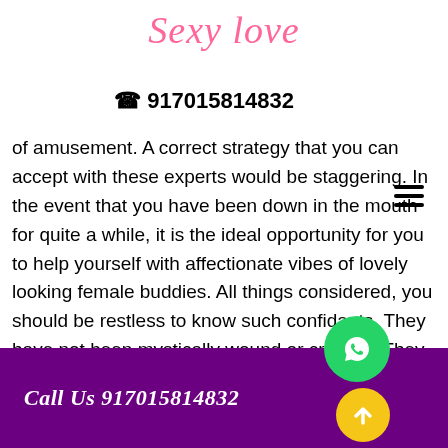Sexy Love
☎ 917015814832
of amusement. A correct strategy that you can accept with these experts would be staggering. In the event that you have been down in the mouth for quite a while, it is the ideal opportunity for you to help yourself with affectionate vibes of lovely looking female buddies. All things considered, you should be restless to know such confidants. They have not been mystically wound or created. They also are as typical individuals as any ladie... With e... they have gotten such a lot of requests... Cheap Escort In Bajaj Enclave, who have
Call Us 917015814832